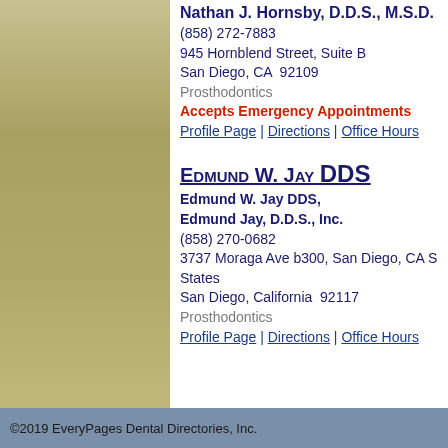Nathan J. Hornsby, D.D.S., M.S.D.
(858) 272-7883
945 Hornblend Street, Suite B
San Diego, CA  92109
Prosthodontics
Accepts Emergency Appointments
Profile Page | Directions | Office Hours
Edmund W. Jay DDS
Edmund W. Jay DDS,
Edmund Jay, D.D.S., Inc.
(858) 270-0682
3737 Moraga Ave b300, San Diego, CA S…States
San Diego, California  92117
Prosthodontics
Profile Page | Directions | Office Hours
©2019 EveryPages Dental Directories, Inc.